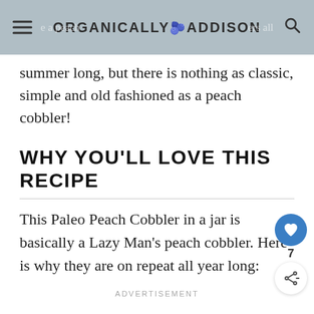ORGANICALLY ADDISON
summer long, but there is nothing as classic, simple and old fashioned as a peach cobbler!
WHY YOU'LL LOVE THIS RECIPE
This Paleo Peach Cobbler in a jar is basically a Lazy Man's peach cobbler. Here is why they are on repeat all year long:
ADVERTISEMENT